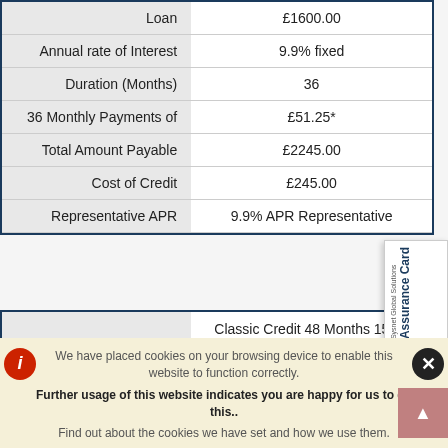| Description | Value |
| --- | --- |
| Loan | £1600.00 |
| Annual rate of Interest | 9.9% fixed |
| Duration (Months) | 36 |
| 36 Monthly Payments of | £51.25* |
| Total Amount Payable | £2245.00 |
| Cost of Credit | £245.00 |
| Representative APR | 9.9% APR Representative |
| Description | Value |
| --- | --- |
|  | Classic Credit 48 Months 15.99
(Minimum goods total £300.00) |
| Goods Total | £2000.00 |
We have placed cookies on your browsing device to enable this website to function correctly.
Further usage of this website indicates you are happy for us to do this..
Find out about the cookies we have set and how we use them.